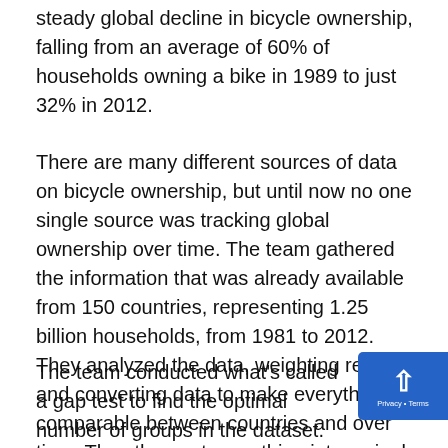steady global decline in bicycle ownership, falling from an average of 60% of households owning a bike in 1989 to just 32% in 2012.
There are many different sources of data on bicycle ownership, but until now no one single source was tracking global ownership over time. The team gathered the information that was already available from 150 countries, representing 1.25 billion households, from 1981 to 2012. They analyzed the data, weighting results and converting data to make everything comparable between countries and over time. They then put everything into a single database.
The team conducted what’s called a gap test to find the optimal number of groups in the dataset. This gave them four main clusters of countries with similar bicycle ownership rates, with an average of 81% of